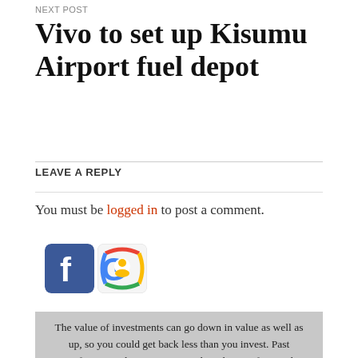NEXT POST
Vivo to set up Kisumu Airport fuel depot
LEAVE A REPLY
You must be logged in to post a comment.
[Figure (illustration): Facebook and Google+ social login icons]
The value of investments can go down in value as well as up, so you could get back less than you invest. Past performance does not necessarily indicate a financial product's future performance. This website aims to provide information to help you make your own informed decisions. Our publications, ratings and analysis should be viewed as an additional investment resource, not as your sole source of information. This website does not provide personal advice based on your circumstances. To obtain advice tailored to your situation, please contact a professional financial